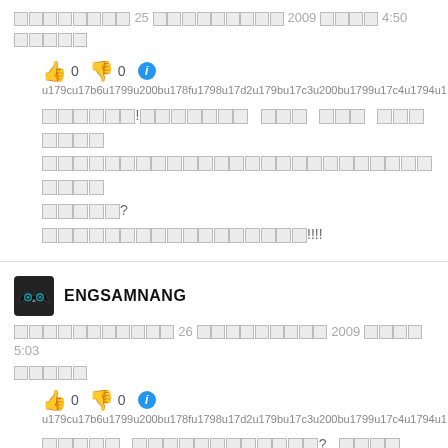[Khmer text] 25 [Khmer] 2009 [Khmer] 4:50 [Khmer]
👍 0 👎 0 ℹ️
u179cu17b6u1799u200bu178fu1798u17d2u179bu17c3u200bu1799u17c4u1794u1...
[Khmer comment text with ?] [Khmer text!!!!]
ENGSAMNANG
[Khmer text] 26 [Khmer] 2009 [Khmer] 5:03 [Khmer]
👍 0 👎 0 ℹ️
u179cu17b6u1799u200bu178fu1798u17d2u179bu17c3u200bu1799u17c4u1794u1...
[Khmer question text]? [Khmer]